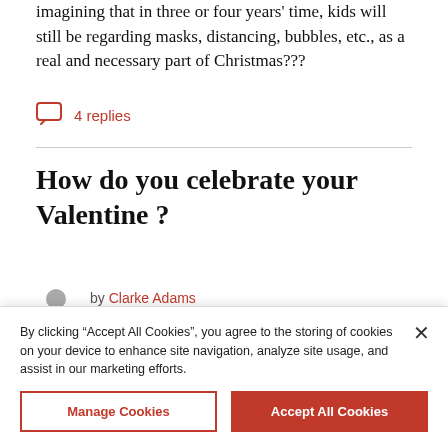imagining that in three or four years' time, kids will still be regarding masks, distancing, bubbles, etc., as a real and necessary part of Christmas???
4 replies
How do you celebrate your Valentine ?
by Clarke Adams
30th December 2021
These days couples are often couples but they are
By clicking "Accept All Cookies", you agree to the storing of cookies on your device to enhance site navigation, analyze site usage, and assist in our marketing efforts.